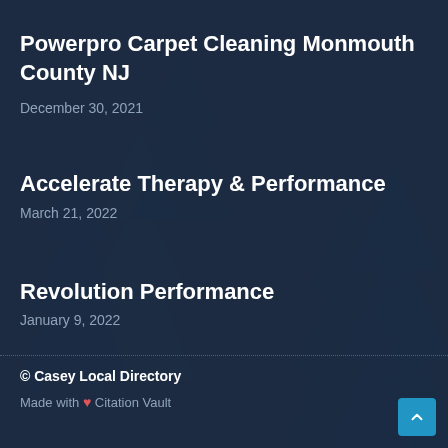Powerpro Carpet Cleaning Monmouth County NJ
December 30, 2021
Accelerate Therapy & Performance
March 21, 2022
Revolution Performance
January 9, 2022
© Casey Local Directory
Made with ❤ Citation Vault